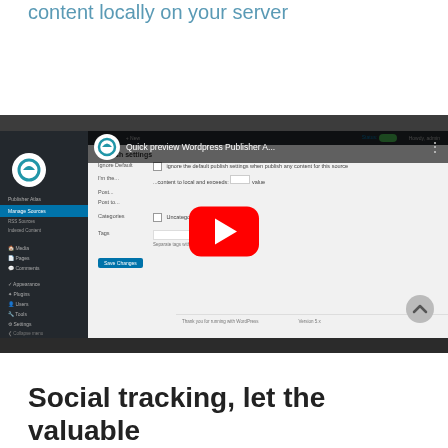Disable storing the images of the retrieved content locally on your server
[Figure (screenshot): YouTube video thumbnail showing a WordPress Publisher plugin quick preview. The video shows the WordPress admin interface with Publish settings panel visible. A large red YouTube play button is centered on the thumbnail. The video title reads 'Quick preview Wordpress Publisher A...' with a channel logo on the left.]
Social tracking, let the valuable